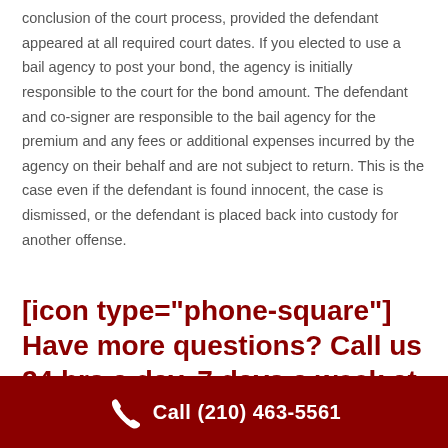conclusion of the court process, provided the defendant appeared at all required court dates. If you elected to use a bail agency to post your bond, the agency is initially responsible to the court for the bond amount. The defendant and co-signer are responsible to the bail agency for the premium and any fees or additional expenses incurred by the agency on their behalf and are not subject to return. This is the case even if the defendant is found innocent, the case is dismissed, or the defendant is placed back into custody for another offense.
[icon type="phone-square"] Have more questions? Call us 24 hrs a day, 7 days a week at 210-463-5561.
Call (210) 463-5561